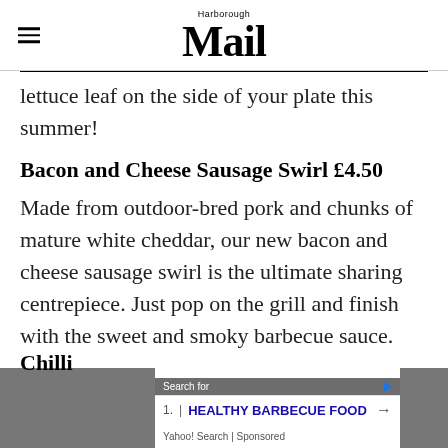Harborough Mail
lettuce leaf on the side of your plate this summer!
Bacon and Cheese Sausage Swirl £4.50
Made from outdoor-bred pork and chunks of mature white cheddar, our new bacon and cheese sausage swirl is the ultimate sharing centrepiece. Just pop on the grill and finish with the sweet and smoky barbecue sauce.
Chilli
Search for
1. HEALTHY BARBECUE FOOD
Yahoo! Search | Sponsored